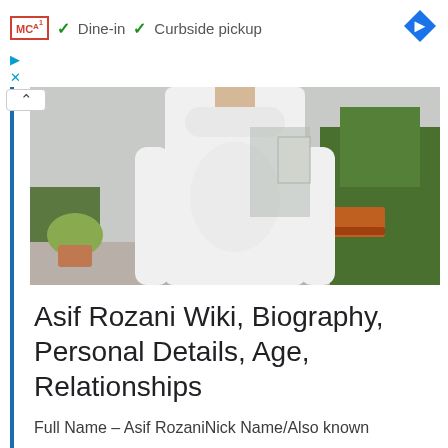[Figure (other): Ad banner with MCA badge, Dine-in and Curbside pickup checkmarks, and Google Maps navigation diamond icon]
[Figure (photo): Person wearing white long-sleeve sweater standing outdoors with greenery and trees in background]
Asif Rozani Wiki, Biography, Personal Details, Age, Relationships
Full Name – Asif RozaniNick Name/Also known as AsifDate of Birth 21st April